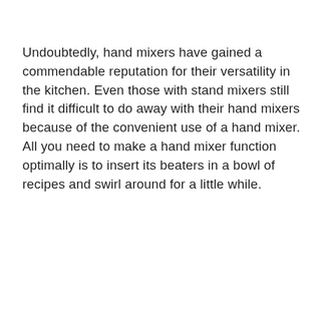Undoubtedly, hand mixers have gained a commendable reputation for their versatility in the kitchen. Even those with stand mixers still find it difficult to do away with their hand mixers because of the convenient use of a hand mixer. All you need to make a hand mixer function optimally is to insert its beaters in a bowl of recipes and swirl around for a little while.